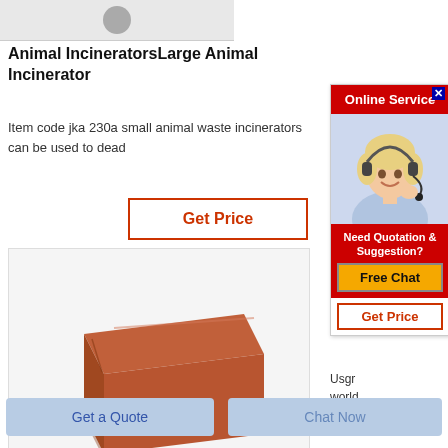[Figure (photo): Gray metal object partially visible at top of product listing]
Animal IncineratorsLarge Animal Incinerator
Item code jka 230a small animal waste incinerators can be used to dead
Get Price
[Figure (photo): A red-brown rectangular fired clay brick on white background]
Was
Cre
Inci
Usgr
world
[Figure (screenshot): Online Service advertisement overlay with woman wearing headset, Need Quotation & Suggestion, Free Chat button and Get Price button]
Get a Quote
Chat Now